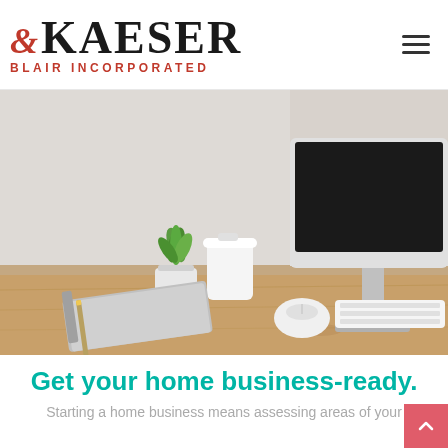Kaeser & Blair Incorporated
[Figure (photo): A clean home office desk setup with a small potted plant, white travel coffee cup, Apple iMac monitor (screen dark), spiral notebook with pencil, Apple Magic Mouse, and Apple keyboard on a light wood surface against a white wall.]
Get your home business-ready.
Starting a home business means assessing areas of your